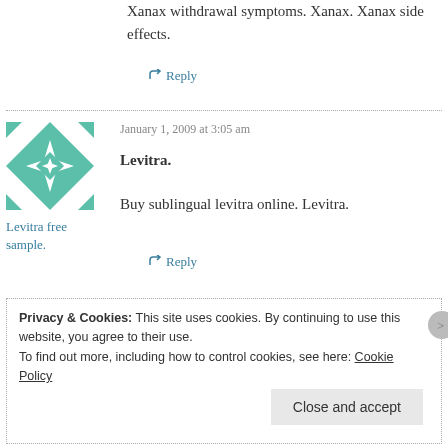Xanax withdrawal symptoms. Xanax. Xanax side effects.
↪ Reply
January 1, 2009 at 3:05 am
[Figure (illustration): Green and white geometric/quilt pattern avatar image]
Levitra free sample.
Levitra.
Buy sublingual levitra online. Levitra.
↪ Reply
Privacy & Cookies: This site uses cookies. By continuing to use this website, you agree to their use.
To find out more, including how to control cookies, see here: Cookie Policy
Close and accept